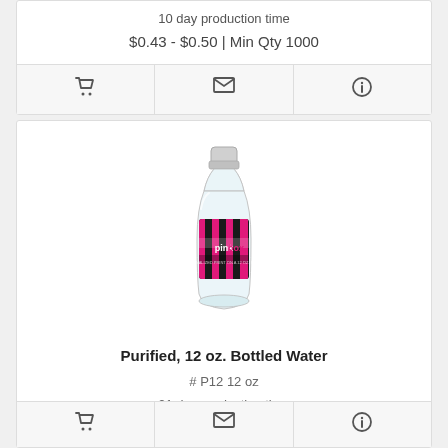10 day production time
$0.43 - $0.50 | Min Qty 1000
[Figure (other): Icon bar with shopping cart, envelope, and info icons]
[Figure (photo): Purified 12 oz. bottled water with pink and black striped label reading 'pinkbox']
Purified, 12 oz. Bottled Water
# P12 12 oz
21 day production time
$0.33 - $0.90 | Min Qty 288